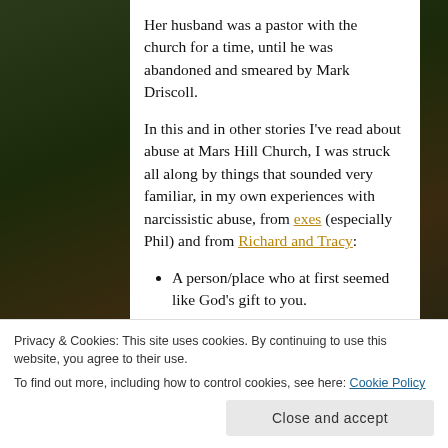Her husband was a pastor with the church for a time, until he was abandoned and smeared by Mark Driscoll.
In this and in other stories I've read about abuse at Mars Hill Church, I was struck all along by things that sounded very familiar, in my own experiences with narcissistic abuse, from exes (especially Phil) and from Richard and Tracy:
A person/place who at first seemed like God's gift to you.
A person who throws tantrums and
Privacy & Cookies: This site uses cookies. By continuing to use this website, you agree to their use. To find out more, including how to control cookies, see here: Cookie Policy
Close and accept